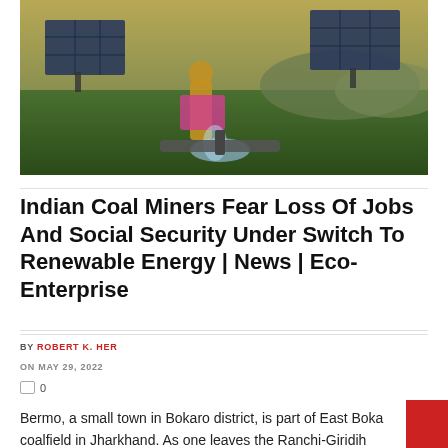[Figure (photo): Photograph of people near solar panels outdoors with water splashing, green grass landscape, hills in background]
Indian Coal Miners Fear Loss Of Jobs And Social Security Under Switch To Renewable Energy | News | Eco-Enterprise
BY ROBERT K. HER
ON MAY 29, 2022
0
Bermo, a small town in Bokaro district, is part of East Boka coalfield in Jharkhand. As one leaves the Ranchi-Giridih